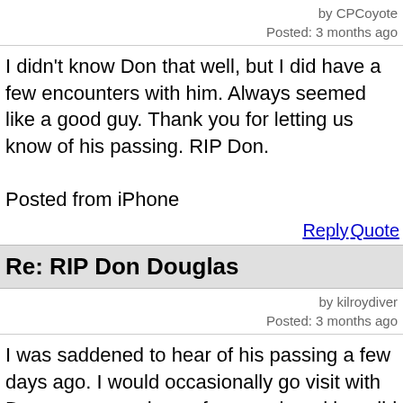by CPCoyote
Posted: 3 months ago
I didn't know Don that well, but I did have a few encounters with him. Always seemed like a good guy. Thank you for letting us know of his passing. RIP Don.

Posted from iPhone
Reply Quote
Re: RIP Don Douglas
by kilroydiver
Posted: 3 months ago
I was saddened to hear of his passing a few days ago. I would occasionally go visit with Don on my way home from work and boy did I cherish hearing his stories first hand! Reading them in the Ferro was one thing but to hear his tales in person was something I will always remember. That and he